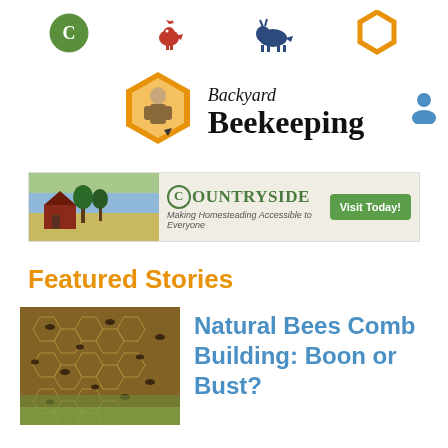[Figure (logo): Navigation bar with four icons: green circular C logo, red rooster weathervane, dark blue goat silhouette, orange hexagon icon]
[Figure (logo): Backyard Beekeeping logo: orange hexagon shape with beekeeper silhouette, text 'Backyard Beekeeping' in serif font, blue user icon on right]
[Figure (infographic): Countryside advertisement banner: landscape photo with barn and trees, 'COUNTRYSIDE - Making Homesteading Accessible to Everyone' text, green 'Visit Today!' button]
Featured Stories
[Figure (photo): Close-up photo of honeybees on natural honeycomb frame, densely packed bees visible]
Natural Bees Comb Building: Boon or Bust?